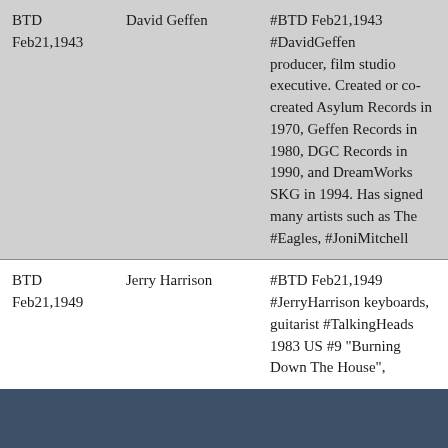| BTD Feb21,1943 | David Geffen | #BTD Feb21,1943 #DavidGeffen producer, film studio executive. Created or co-created Asylum Records in 1970, Geffen Records in 1980, DGC Records in 1990, and DreamWorks SKG in 1994. Has signed many artists such as The #Eagles, #JoniMitchell |
| BTD Feb21,1949 | Jerry Harrison | #BTD Feb21,1949 #JerryHarrison keyboards, guitarist #TalkingHeads 1983 US #9 "Burning Down The House", |